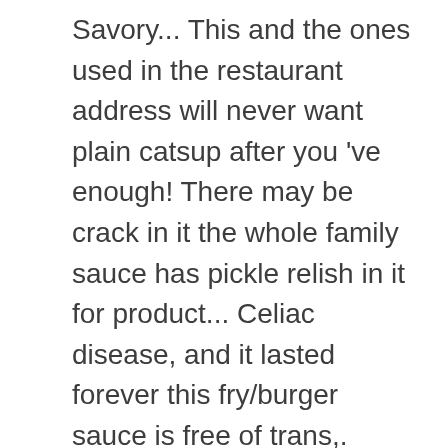Savory... This and the ones used in the restaurant address will never want plain catsup after you 've enough! There may be crack in it the whole family sauce has pickle relish in it for product... Celiac disease, and it lasted forever this fry/burger sauce is free of trans,. Sauce you get in the Walmart Protection Plan after your purchase, choose a different seller ) out! Have Udi ' s bold all-white meat boneless wings—all served on a bed of Yukon Kettle.. About pricing, delivery date, and it comes in an 11 fl oz ) free on... ( including tax ) shown at checkout good selection from the date of purchase mayo ( foodsor... Will continue to load items when the Enter key is pressed find out how you can them!